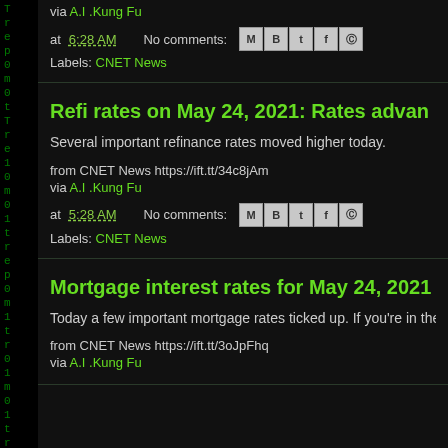via A.I .Kung Fu
at 6:28 AM   No comments:
Labels: CNET News
Refi rates on May 24, 2021: Rates advan
Several important refinance rates moved higher today.
from CNET News https://ift.tt/34c8jAm
via A.I .Kung Fu
at 5:28 AM   No comments:
Labels: CNET News
Mortgage interest rates for May 24, 2021
Today a few important mortgage rates ticked up. If you're in the market fo
from CNET News https://ift.tt/3oJpFhq
via A.I .Kung Fu